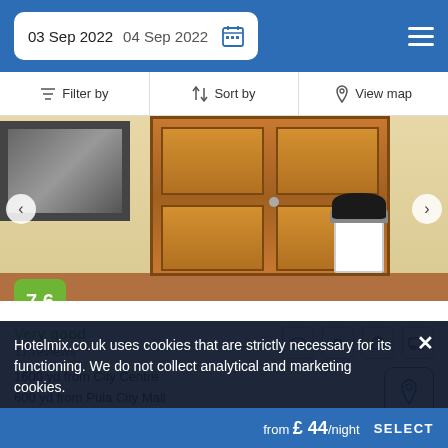03 Sep 2022   04 Sep 2022
Filter by   Sort by   View map
[Figure (photo): Hotel room interior showing wooden wardrobe doors and a white trash can with a black bag. A framed picture is visible on the left wall. Rating badge showing 7.6 overlaid on bottom-left.]
Very good
17 reviews
1600 yd from City Centre
600 yd from Pula City Mall
Nestled in Pula City Centre district of Pula, the venue is about 10 km from Pula airport.
Hotelmix.co.uk uses cookies that are strictly necessary for its functioning. We do not collect analytical and marketing cookies.
from £ 44/night   SELECT